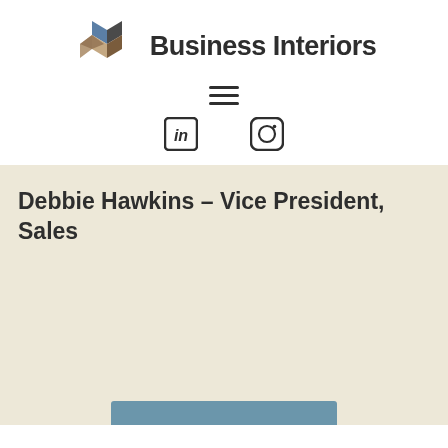[Figure (logo): Business Interiors logo with geometric cube shapes in brown, tan, and blue, and bold text 'Business Interiors']
[Figure (other): Hamburger menu icon (three horizontal lines)]
[Figure (other): Social media icons: LinkedIn (in) and Instagram (camera circle)]
Debbie Hawkins – Vice President, Sales
[Figure (other): Partial blue button bar at bottom of page]